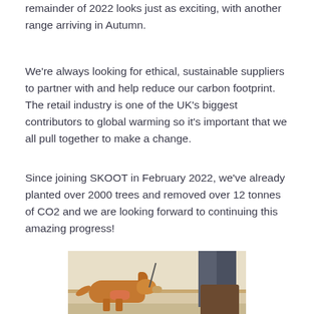remainder of 2022 looks just as exciting, with another range arriving in Autumn.
We're always looking for ethical, sustainable suppliers to partner with and help reduce our carbon footprint. The retail industry is one of the UK's biggest contributors to global warming so it's important that we all pull together to make a change.
Since joining SKOOT in February 2022, we've already planted over 2000 trees and removed over 12 tonnes of CO2 and we are looking forward to continuing this amazing progress!
[Figure (photo): A golden-haired dachshund on a leash wearing a pink harness, sitting next to a person's brown leather boots on stone steps]